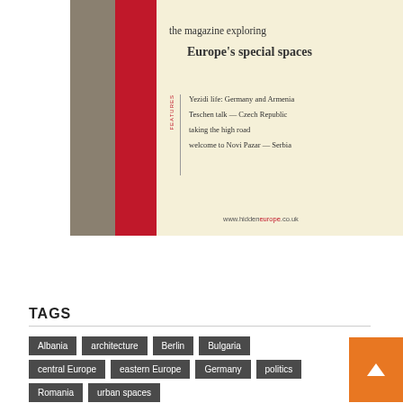[Figure (illustration): Magazine cover for 'hidden europe' showing the magazine exploring Europe's special spaces, with features listed: Yezidi life: Germany and Armenia, Teschen talk — Czech Republic, taking the high road, welcome to Novi Pazar — Serbia. Left side has khaki and red vertical stripes. Cream background with www.hiddeneurope.co.uk URL at bottom.]
▶ Buy the issue
TAGS
Albania
architecture
Berlin
Bulgaria
central Europe
eastern Europe
Germany
politics
Romania
urban spaces